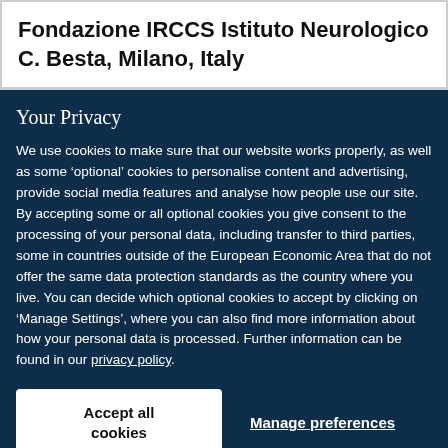Fondazione IRCCS Istituto Neurologico C. Besta, Milano, Italy
Your Privacy
We use cookies to make sure that our website works properly, as well as some ‘optional’ cookies to personalise content and advertising, provide social media features and analyse how people use our site. By accepting some or all optional cookies you give consent to the processing of your personal data, including transfer to third parties, some in countries outside of the European Economic Area that do not offer the same data protection standards as the country where you live. You can decide which optional cookies to accept by clicking on ‘Manage Settings’, where you can also find more information about how your personal data is processed. Further information can be found in our privacy policy.
Accept all cookies
Manage preferences